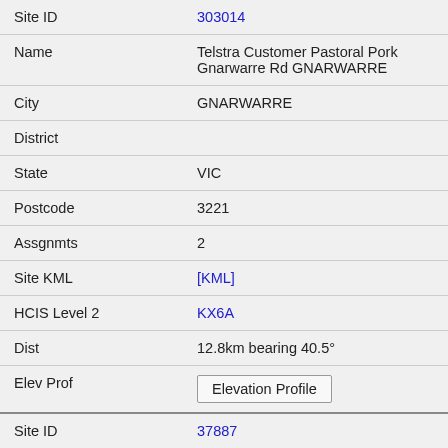| Field | Value |
| --- | --- |
| Site ID | 303014 |
| Name | Telstra Customer Pastoral Pork Gnarwarre Rd GNARWARRE |
| City | GNARWARRE |
| District |  |
| State | VIC |
| Postcode | 3221 |
| Assgnmts | 2 |
| Site KML | [KML] |
| HCIS Level 2 | KX6A |
| Dist | 12.8km bearing 40.5° |
| Elev Prof | Elevation Profile |
| Site ID | 37887 |
| Name | Telstra Customer Gnarewarre Road MT POLLOCK |
| City | MT POLLOCK |
| District |  |
| State | VIC |